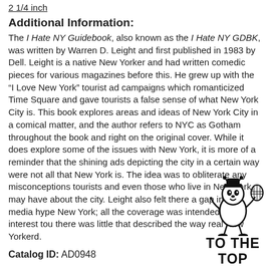2 1/4 inch
Additional Information:
The I Hate NY Guidebook, also known as the I Hate NY GDBK, was written by Warren D. Leight and first published in 1983 by Dell. Leight is a native New Yorker and had written comedic pieces for various magazines before this. He grew up with the “I Love New York” tourist ad campaigns which romanticized Time Square and gave tourists a false sense of what New York City is. This book explores areas and ideas of New York City in a comical matter, and the author refers to NYC as Gotham throughout the book and right on the original cover. While it does explore some of the issues with New York, it is more of a reminder that the shining ads depicting the city in a certain way were not all that New York is. The idea was to obliterate any misconceptions tourists and even those who live in New York, may have about the city. Leight also felt there a gap in the media hype New York; all the coverage was intended to interest tourists there was little that described the way real New Yorkers lived.
Catalog ID: AD0948
[Figure (illustration): Cartoon mascot bee/character holding a tennis racket, with 'TO THE TOP' text below in bold black letters]